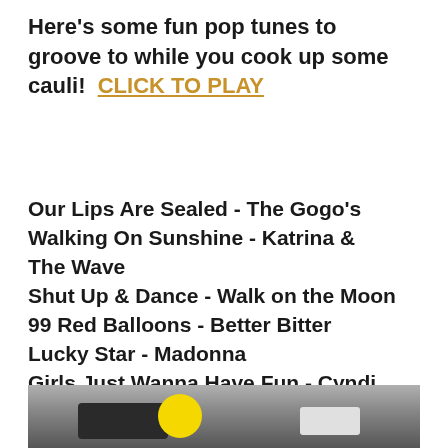Here's some fun pop tunes to groove to while you cook up some cauli!  CLICK TO PLAY
Our Lips Are Sealed - The Gogo's
Walking On Sunshine - Katrina & The Wave
Shut Up & Dance - Walk on the Moon
99 Red Balloons - Better Bitter
Lucky Star - Madonna
Girls Just Wanna Have Fun - Cyndi Lauper
Video Kill the Radio Star - Better Bitter
[Figure (photo): Partial photo of a kitchen countertop scene with a yellow circular object and dark appliances, cropped at bottom of page]